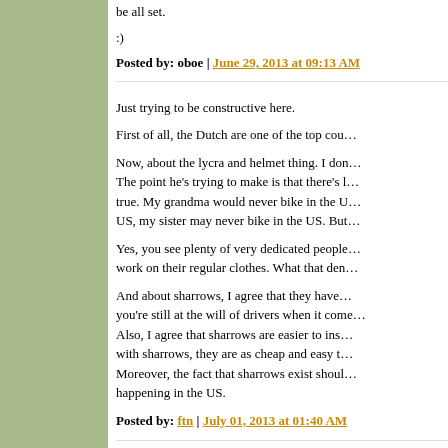be all set.
:)
Posted by: oboe | June 29, 2013 at 09:13 AM
Just trying to be constructive here.
First of all, the Dutch are one of the top cou…
Now, about the lycra and helmet thing. I don… The point he's trying to make is that there's l… true. My grandma would never bike in the U… US, my sister may never bike in the US. But…
Yes, you see plenty of very dedicated people… work on their regular clothes. What that den…
And about sharrows, I agree that they have… you're still at the will of drivers when it come… Also, I agree that sharrows are easier to ins… with sharrows, they are as cheap and easy t… Moreover, the fact that sharrows exist shoul… happening in the US.
Posted by: ftn | July 01, 2013 at 01:40 AM
We can only learn from them.
I think we can teach them a few things too. A…
you barely see people biking to work on thei…